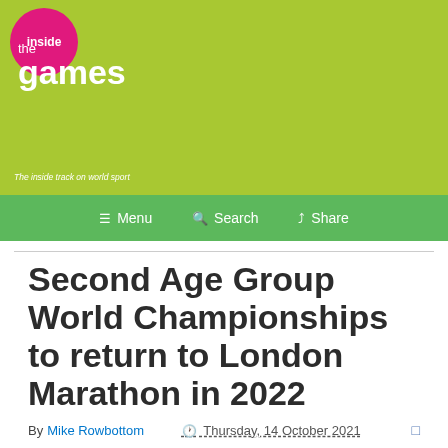[Figure (logo): Inside the Games logo with pink circle and green background, showing 'inside' in circle, 'the games' text, and tagline 'The inside track on world sport']
Menu  Search  Share
Second Age Group World Championships to return to London Marathon in 2022
By Mike Rowbottom  Thursday, 14 October 2021
Age Group World Championships,